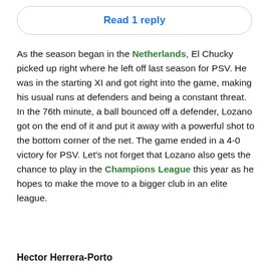Read 1 reply
As the season began in the Netherlands, El Chucky picked up right where he left off last season for PSV. He was in the starting XI and got right into the game, making his usual runs at defenders and being a constant threat. In the 76th minute, a ball bounced off a defender, Lozano got on the end of it and put it away with a powerful shot to the bottom corner of the net. The game ended in a 4-0 victory for PSV. Let's not forget that Lozano also gets the chance to play in the Champions League this year as he hopes to make the move to a bigger club in an elite league.
Hector Herrera-Porto